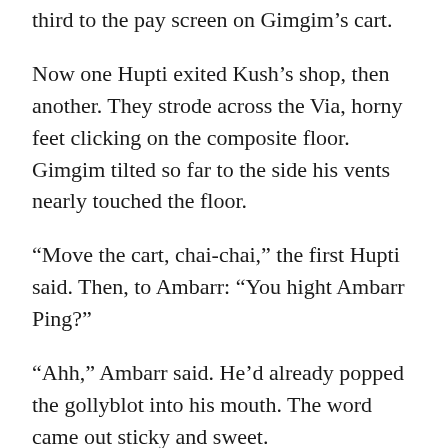third to the pay screen on Gimgim's cart.
Now one Hupti exited Kush's shop, then another. They strode across the Via, horny feet clicking on the composite floor. Gimgim tilted so far to the side his vents nearly touched the floor.
“Move the cart, chai-chai,” the first Hupti said. Then, to Ambarr: “You hight Ambarr Ping?”
“Ahh,” Ambarr said. He’d already popped the gollyblot into his mouth. The word came out sticky and sweet.
“You will come with us.” The Hupt officer indicated the direction Ambarr was expected to take with one sweep of his weapon.